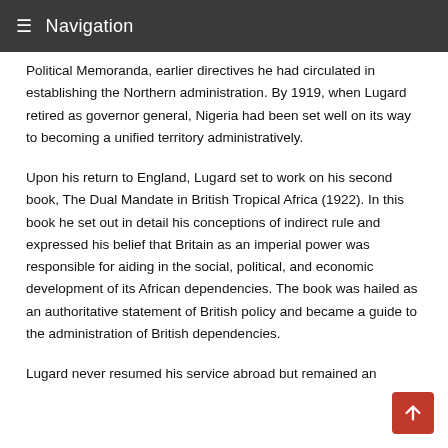≡ Navigation
Political Memoranda, earlier directives he had circulated in establishing the Northern administration. By 1919, when Lugard retired as governor general, Nigeria had been set well on its way to becoming a unified territory administratively.
Upon his return to England, Lugard set to work on his second book, The Dual Mandate in British Tropical Africa (1922). In this book he set out in detail his conceptions of indirect rule and expressed his belief that Britain as an imperial power was responsible for aiding in the social, political, and economic development of its African dependencies. The book was hailed as an authoritative statement of British policy and became a guide to the administration of British dependencies.
Lugard never resumed his service abroad but remained an